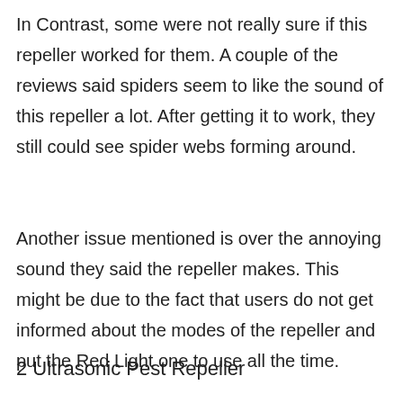In Contrast, some were not really sure if this repeller worked for them. A couple of the reviews said spiders seem to like the sound of this repeller a lot. After getting it to work, they still could see spider webs forming around.
Another issue mentioned is over the annoying sound they said the repeller makes. This might be due to the fact that users do not get informed about the modes of the repeller and put the Red Light one to use all the time.
2 Ultrasonic Pest Repeller